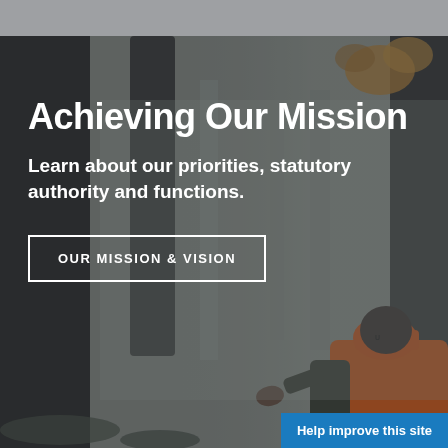[Figure (photo): Person wearing orange safety vest and orange hunting cap standing in a foggy forest, viewed from behind, with bare trees and autumn leaves in the background.]
Achieving Our Mission
Learn about our priorities, statutory authority and functions.
OUR MISSION & VISION
Help improve this site